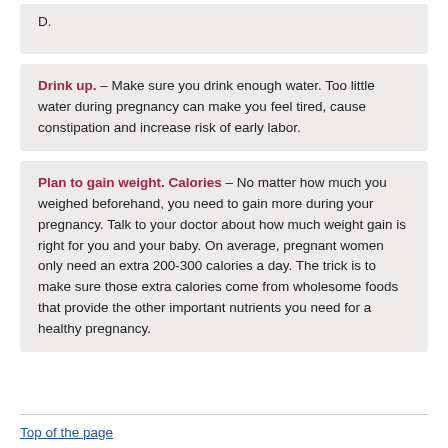D.
Drink up. – Make sure you drink enough water. Too little water during pregnancy can make you feel tired, cause constipation and increase risk of early labor.
Plan to gain weight. Calories – No matter how much you weighed beforehand, you need to gain more during your pregnancy. Talk to your doctor about how much weight gain is right for you and your baby. On average, pregnant women only need an extra 200-300 calories a day. The trick is to make sure those extra calories come from wholesome foods that provide the other important nutrients you need for a healthy pregnancy.
Top of the page